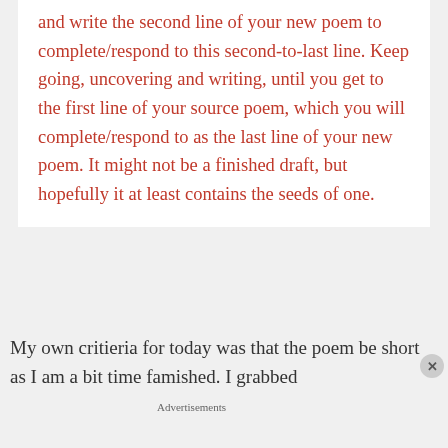and write the second line of your new poem to complete/respond to this second-to-last line. Keep going, uncovering and writing, until you get to the first line of your source poem, which you will complete/respond to as the last line of your new poem. It might not be a finished draft, but hopefully it at least contains the seeds of one.
My own critieria for today was that the poem be short as I am a bit time famished. I grabbed
[Figure (screenshot): DuckDuckGo advertisement: orange background with text 'Search, browse, and email with more privacy. All in One Free App' and a phone graphic showing the DuckDuckGo logo]